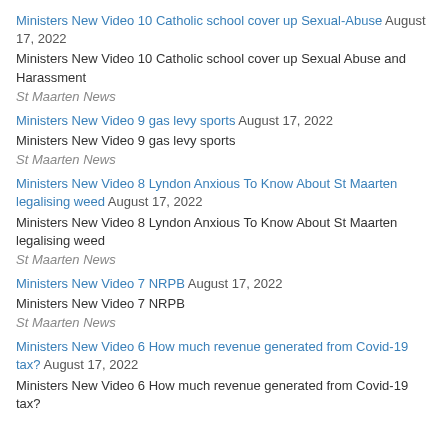Ministers New Video 10 Catholic school cover up Sexual-Abuse August 17, 2022
Ministers New Video 10 Catholic school cover up Sexual Abuse and Harassment
St Maarten News
Ministers New Video 9 gas levy sports August 17, 2022
Ministers New Video 9 gas levy sports
St Maarten News
Ministers New Video 8 Lyndon Anxious To Know About St Maarten legalising weed August 17, 2022
Ministers New Video 8 Lyndon Anxious To Know About St Maarten legalising weed
St Maarten News
Ministers New Video 7 NRPB August 17, 2022
Ministers New Video 7 NRPB
St Maarten News
Ministers New Video 6 How much revenue generated from Covid-19 tax? August 17, 2022
Ministers New Video 6 How much revenue generated from Covid-19 tax?